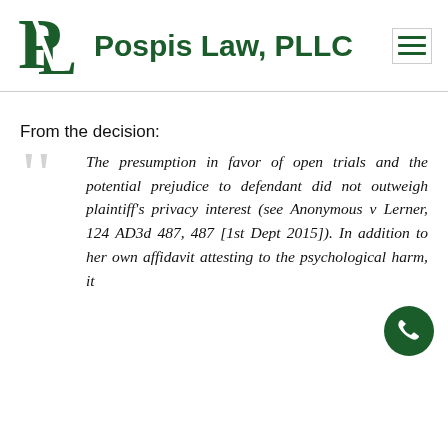[Figure (logo): Pospis Law PLLC logo with stylized P and L letters in dark green]
Pospis Law, PLLC
From the decision:
The presumption in favor of open trials and the potential prejudice to defendant did not outweigh plaintiff's privacy interest (see Anonymous v Lerner, 124 AD3d 487, 487 [1st Dept 2015]). In addition to her own affidavit attesting to the psychological harm, it